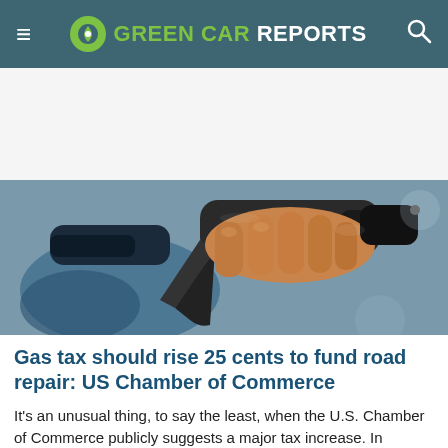GREEN CAR REPORTS
[Figure (photo): Close-up photograph of a hand holding a gas pump nozzle at a fuel station, with a blurred blue car in the background.]
Gas tax should rise 25 cents to fund road repair: US Chamber of Commerce
It's an unusual thing, to say the least, when the U.S. Chamber of Commerce publicly suggests a major tax increase. In general, the pro-business lobbying group advocates for tax cuts, reducing or